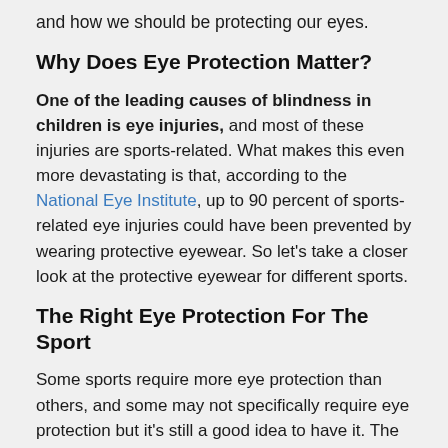and how we should be protecting our eyes.
Why Does Eye Protection Matter?
One of the leading causes of blindness in children is eye injuries, and most of these injuries are sports-related. What makes this even more devastating is that, according to the National Eye Institute, up to 90 percent of sports-related eye injuries could have been prevented by wearing protective eyewear. So let’s take a closer look at the protective eyewear for different sports.
The Right Eye Protection For The Sport
Some sports require more eye protection than others, and some may not specifically require eye protection but it’s still a good idea to have it. The sports where eye safety is a particular